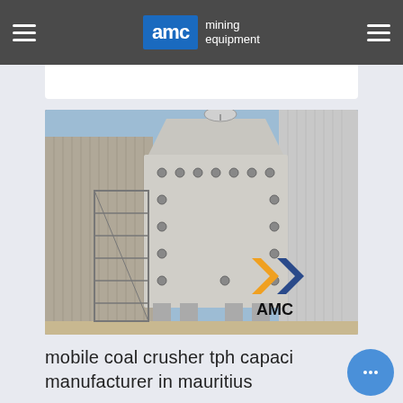AMC mining equipment
[Figure (photo): Industrial coal crusher machine / heavy equipment at a facility, with AMC logo watermark in lower right corner. Large grey machine with bolts visible, metal scaffolding/stairs on left, corrugated metal siding in background, blue sky.]
mobile coal crusher tph capacity manufacturer in mauritius